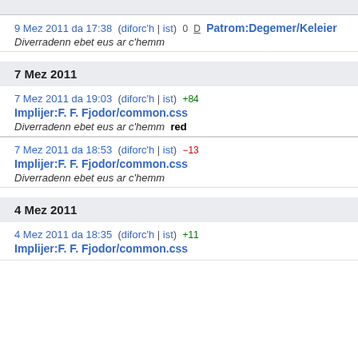9 Mez 2011 da 17:38  (diforc'h | ist)  0  D  Patrom:Degemer/Keleier
Diverradenn ebet eus ar c'hemm
7 Mez 2011
7 Mez 2011 da 19:03  (diforc'h | ist)  +84
Implijer:F. F. Fjodor/common.css
Diverradenn ebet eus ar c'hemm  red
7 Mez 2011 da 18:53  (diforc'h | ist)  -13
Implijer:F. F. Fjodor/common.css
Diverradenn ebet eus ar c'hemm
4 Mez 2011
4 Mez 2011 da 18:35  (diforc'h | ist)  +11
Implijer:F. F. Fjodor/common.css